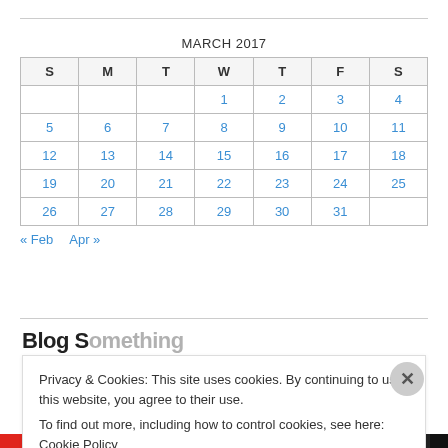MARCH 2017
| S | M | T | W | T | F | S |
| --- | --- | --- | --- | --- | --- | --- |
|  |  |  | 1 | 2 | 3 | 4 |
| 5 | 6 | 7 | 8 | 9 | 10 | 11 |
| 12 | 13 | 14 | 15 | 16 | 17 | 18 |
| 19 | 20 | 21 | 22 | 23 | 24 | 25 |
| 26 | 27 | 28 | 29 | 30 | 31 |  |
« Feb   Apr »
Blog Comments...
Privacy & Cookies: This site uses cookies. By continuing to use this website, you agree to their use.
To find out more, including how to control cookies, see here: Cookie Policy
Close and accept